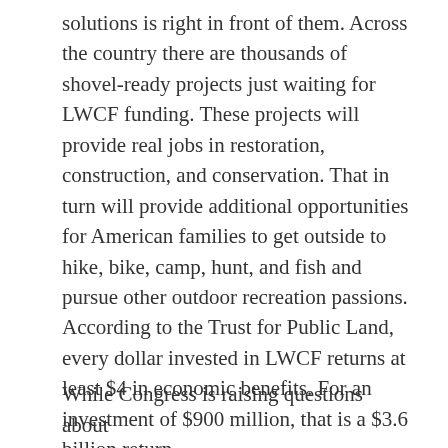solutions is right in front of them. Across the country there are thousands of shovel-ready projects just waiting for LWCF funding. These projects will provide real jobs in restoration, construction, and conservation. That in turn will provide additional opportunities for American families to get outside to hike, bike, camp, hunt, and fish and pursue other outdoor recreation passions. According to the Trust for Public Land, every dollar invested in LWCF returns at least $4 in economic benefits. For an investment of $900 million, that is a $3.6 billion return.
While Congress is raising questions about